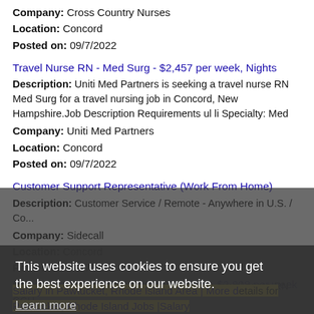Company: Cross Country Nurses
Location: Concord
Posted on: 09/7/2022
Travel Nurse RN - Med Surg - $2,457 per week, Nights
Description: Uniti Med Partners is seeking a travel nurse RN Med Surg for a travel nursing job in Concord, New Hampshire.Job Description Requirements ul li Specialty: Med
Company: Uniti Med Partners
Location: Concord
Posted on: 09/7/2022
Customer Support Representative (Work From Home)
Description: Customer Service / Remote - Anywhere in U.S. / Co...
Company: Sidecall
Location: Concord
Posted on: 09/7/2022
This website uses cookies to ensure you get the best experience on our website.
Learn more
Got it!
Salary in Pawtucket, Rhode Island Area | More details for Pawtucket, Rhode Island Jobs |Salary
Travel Nurse RN - CCU - Coronary Care - $2,808 per week
Description: CoreStaff Partners is seeking a travel nurse RN CCU